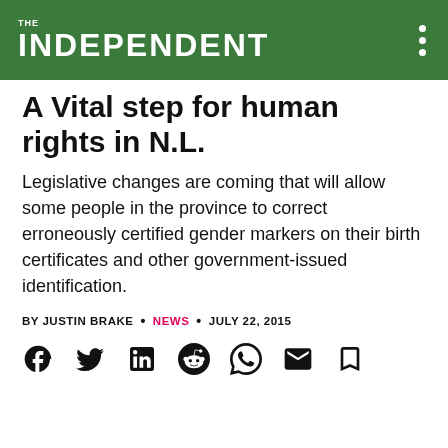THE INDEPENDENT
A Vital step for human rights in N.L.
Legislative changes are coming that will allow some people in the province to correct erroneously certified gender markers on their birth certificates and other government-issued identification.
BY JUSTIN BRAKE • NEWS • JULY 22, 2015
[Figure (other): Social media sharing icons: Facebook, Twitter, LinkedIn, Reddit, WhatsApp, Email, Bookmark]